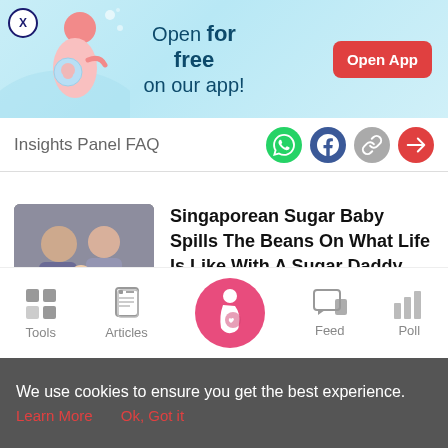[Figure (infographic): App advertisement banner with illustration of pregnant woman, text 'Open for free on our app!' and 'Open App' button]
Insights Panel FAQ
[Figure (infographic): Article thumbnail showing people with baby]
Singaporean Sugar Baby Spills The Beans On What Life Is Like With A Sugar Daddy
[Figure (infographic): Bottom navigation bar with Tools, Articles, Home (pregnant icon), Feed, Poll]
We use cookies to ensure you get the best experience.
Learn More   Ok, Got it